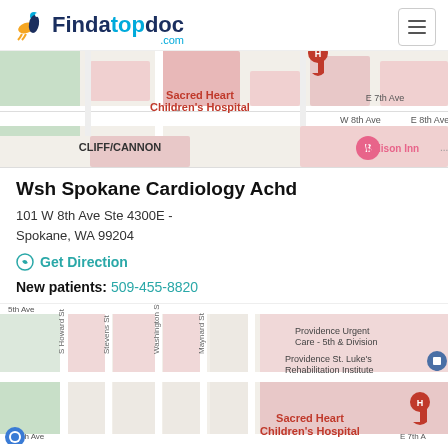Findatopdoc.com
[Figure (map): Google Maps view showing Sacred Heart Children's Hospital area with streets W 8th Ave, E 7th Ave, E 8th Ave and Madison Inn marker, CLIFF/CANNON neighborhood label]
Wsh Spokane Cardiology Achd
101 W 8th Ave Ste 4300E - Spokane, WA 99204
Get Direction
New patients: 509-455-8820
[Figure (map): Google Maps view showing area around Sacred Heart Children's Hospital with streets 5th Ave, S Howard St, Stevens St, Washington St, Maynard St, W 7th Ave, Providence Urgent Care - 5th & Division, Providence St. Luke's Rehabilitation Institute markers]